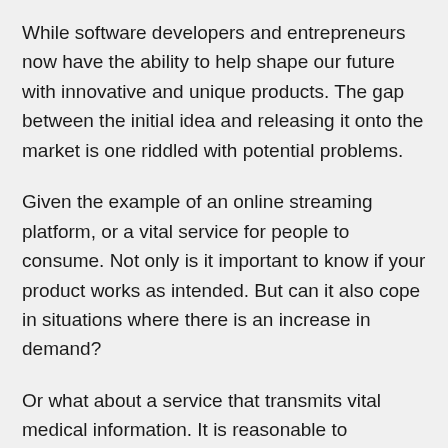While software developers and entrepreneurs now have the ability to help shape our future with innovative and unique products. The gap between the initial idea and releasing it onto the market is one riddled with potential problems.
Given the example of an online streaming platform, or a vital service for people to consume. Not only is it important to know if your product works as intended. But can it also cope in situations where there is an increase in demand?
Or what about a service that transmits vital medical information. It is reasonable to hypothesise that such application would be dealing with highly sensitive information. Therefore, the risk to your software is much